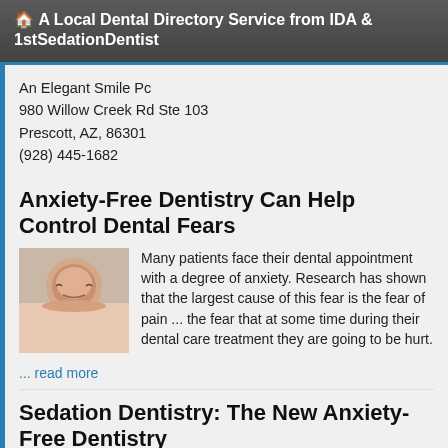🏠 A Local Dental Directory Service from IDA & 1stSedationDentist
An Elegant Smile Pc
980 Willow Creek Rd Ste 103
Prescott, AZ, 86301
(928) 445-1682
Anxiety-Free Dentistry Can Help Control Dental Fears
[Figure (photo): Woman with eyes closed, resting peacefully, close-up portrait]
Many patients face their dental appointment with a degree of anxiety. Research has shown that the largest cause of this fear is the fear of pain ... the fear that at some time during their dental care treatment they are going to be hurt.
... read more
Sedation Dentistry: The New Anxiety-Free Dentistry
[Figure (photo): Portrait photo related to sedation dentistry article]
It's called sedation dentistry (performed by a